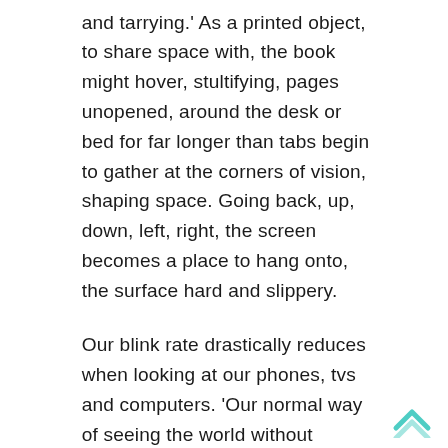and tarrying.' As a printed object, to share space with, the book might hover, stultifying, pages unopened, around the desk or bed for far longer than tabs begin to gather at the corners of vision, shaping space. Going back, up, down, left, right, the screen becomes a place to hang onto, the surface hard and slippery.
Our blink rate drastically reduces when looking at our phones, tvs and computers. 'Our normal way of seeing the world without looking at it.' [5]. The optometrist told me so, whilst we argued over the value of my universal credit voucher for the free eye test. She tells me to keep blinking, to spend tim